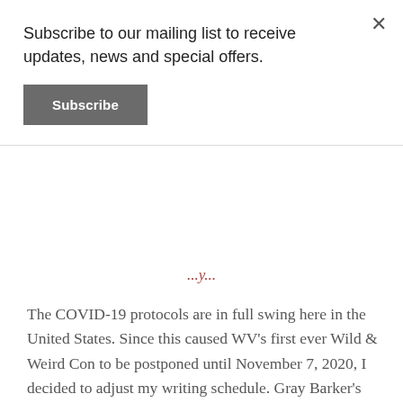Subscribe to our mailing list to receive updates, news and special offers.
Subscribe
The COVID-19 protocols are in full swing here in the United States. Since this caused WV's first ever Wild & Weird Con to be postponed until November 7, 2020, I decided to adjust my writing schedule. Gray Barker's Book of Monsters – Volume Two will be placed on the back burner for now.
Privacy & Cookies: This site uses cookies. By continuing to use this website, you agree to their use.
To find out more, including how to control cookies, see here: Cookie Policy
Close and accept
dubbing Godspell. Godspell is literally the main thread of the